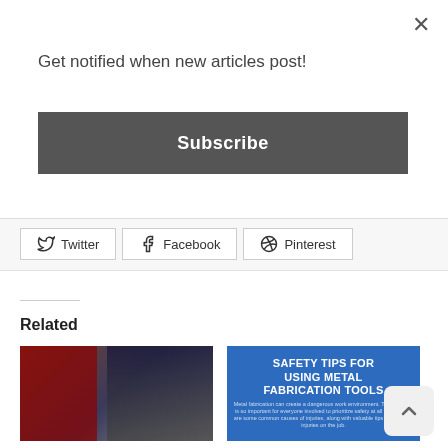Get notified when new articles post!
Subscribe
Twitter
Facebook
Pinterest
Related
[Figure (photo): Photo of welding equipment including a welder machine on a cart next to a truck tire in a garage with red tool chest]
Get started welding for under $250 guide
May 11, 2015
In "FABRICATION KNOWLEDGE"
[Figure (infographic): Blue background safety tips graphic with title SAFETY TIPS FOR USING METAL FABRICATION TOOLS and small subtitle text about metal fabrication work environment dangers]
Safety Tips for Using Metal Fabrication Tools
November 17, 2018
In "FABRICATION KNOWLEDGE"